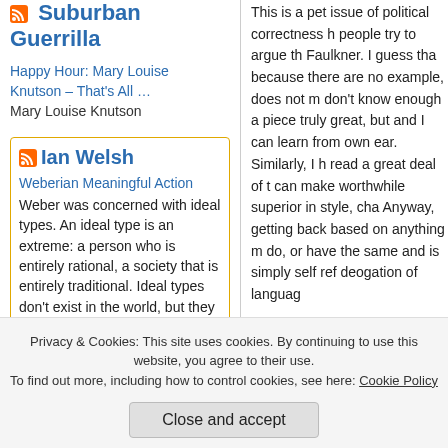Suburban Guerrilla
Happy Hour: Mary Louise Knutson – That's All ...
Mary Louise Knutson
Ian Welsh
Weberian Meaningful Action
Weber was concerned with ideal types. An ideal type is an extreme: a person who is entirely rational, a society that is entirely traditional. Ideal types don't exist in the world, but they are useful for
This is a pet issue of political correctness h people try to argue th Faulkner. I guess tha because there are no example, does not m don't know enough a piece truly great, but and I can learn from own ear. Similarly, I h read a great deal of t can make worthwhile superior in style, cha Anyway, getting back based on anything m do, or have the same and is simply self ref deogation of languag
Privacy & Cookies: This site uses cookies. By continuing to use this website, you agree to their use.
To find out more, including how to control cookies, see here: Cookie Policy
Close and accept